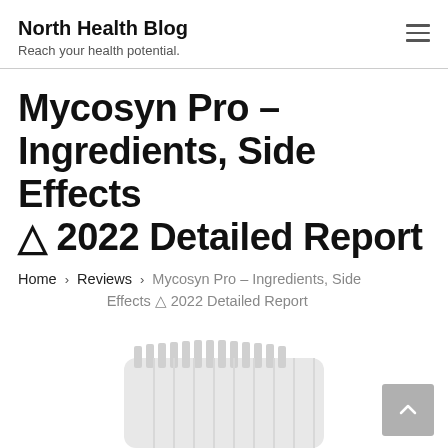North Health Blog — Reach your health potential.
Mycosyn Pro – Ingredients, Side Effects ⚠ 2022 Detailed Report
Home › Reviews › Mycosyn Pro – Ingredients, Side Effects ⚠ 2022 Detailed Report
[Figure (photo): Partial image of a white cylindrical supplement bottle with ribbed cap, cut off at the bottom of the page]